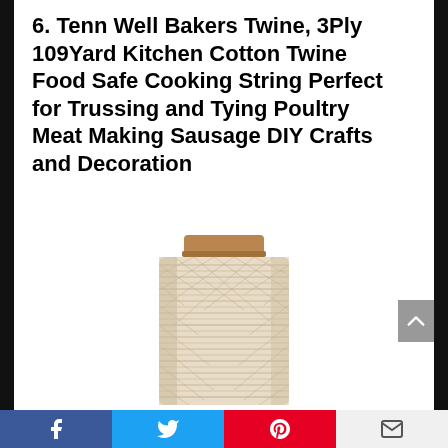6. Tenn Well Bakers Twine, 3Ply 109Yard Kitchen Cotton Twine Food Safe Cooking String Perfect for Trussing and Tying Poultry Meat Making Sausage DIY Crafts and Decoration
[Figure (photo): A spool of natural/cream colored cotton baker's twine wound tightly on a cylindrical cork/wood spool, photographed on a white background.]
[Figure (other): Back-to-top arrow button in gray on the right side]
Facebook | Twitter | Pinterest | Email social share bar